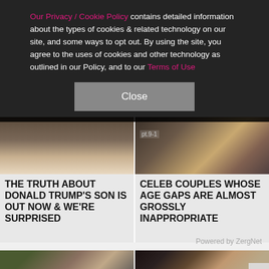Our Privacy / Cookie Policy contains detailed information about the types of cookies & related technology on our site, and some ways to opt out. By using the site, you agree to the uses of cookies and other technology as outlined in our Policy, and to our Terms of Use
Close
[Figure (photo): Close-up photo of a young man's face from nose down, wearing a light colored shirt]
THE TRUTH ABOUT DONALD TRUMP'S SON IS OUT NOW & WE'RE SURPRISED
[Figure (photo): Close-up photo of a woman with gold jewelry, with 'pt.9-1' text visible]
CELEB COUPLES WHOSE AGE GAPS ARE ALMOST GROSSLY INAPPROPRIATE
Powered by ZergNet
[Figure (photo): Photo of a couple, woman with hair up appears to be laughing or yelling at a bearded man outdoors]
[Figure (photo): Close-up photo of a woman wearing glasses, with an X close button in the bottom right corner]